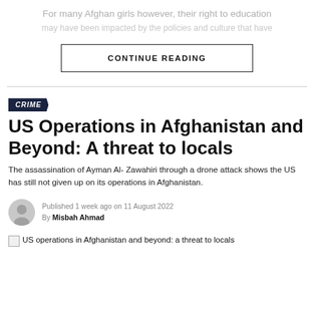For many Afghan girls however, their right to education
CONTINUE READING
CRIME
US Operations in Afghanistan and Beyond: A threat to locals
The assassination of Ayman Al- Zawahiri through a drone attack shows the US has still not given up on its operations in Afghanistan.
Published 1 week ago on 11 August 2022
By Misbah Ahmad
US operations in Afghanistan and beyond: a threat to locals